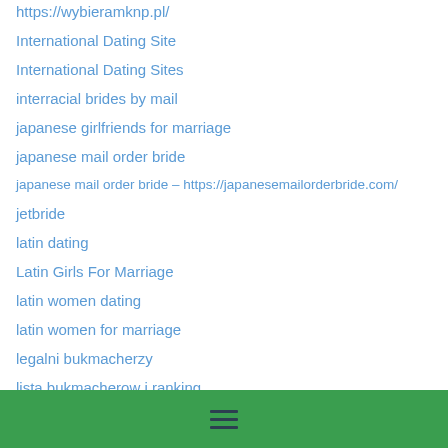https://wybieramknp.pl/
International Dating Site
International Dating Sites
interracial brides by mail
japanese girlfriends for marriage
japanese mail order bride
japanese mail order bride – https://japanesemailorderbride.com/
jetbride
latin dating
Latin Girls For Marriage
latin women dating
latin women for marriage
legalni bukmacherzy
lista bukmacherow i ranking
Looking For A Wife
☰